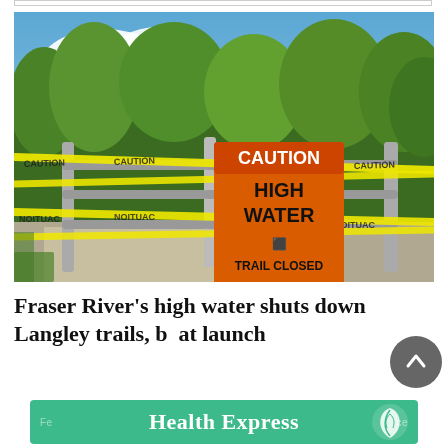[Figure (photo): A metal gate with yellow caution tape strung across it and an orange sign reading 'CAUTION HIGH WATER TRAIL CLOSED'. Green trees and shrubs are visible in the background under a partly cloudy blue sky.]
Fraser River's high water shuts down Langley trails, boat launch
[Figure (logo): Advertisement banner for 'Health Express' in white bold text on a teal/green background with a white leaf logo on the right side and faded text 'Fe...ce' on the left.]